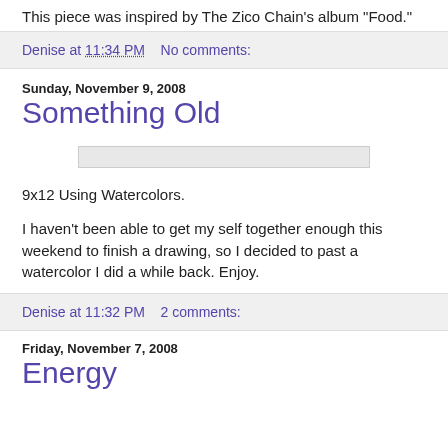This piece was inspired by The Zico Chain's album "Food."
Denise at 11:34 PM    No comments:
Sunday, November 9, 2008
Something Old
[Figure (other): Horizontal image placeholder bar]
9x12 Using Watercolors.
I haven't been able to get my self together enough this weekend to finish a drawing, so I decided to past a watercolor I did a while back. Enjoy.
Denise at 11:32 PM    2 comments:
Friday, November 7, 2008
Energy